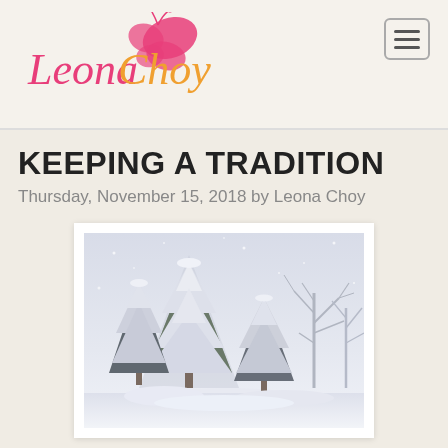[Figure (logo): Leona Choy script logo with butterfly graphic in pink and orange]
KEEPING A TRADITION
Thursday, November 15, 2018 by Leona Choy
[Figure (photo): Snow-covered evergreen trees and bare deciduous trees in a wintry white landscape with heavy snowfall]